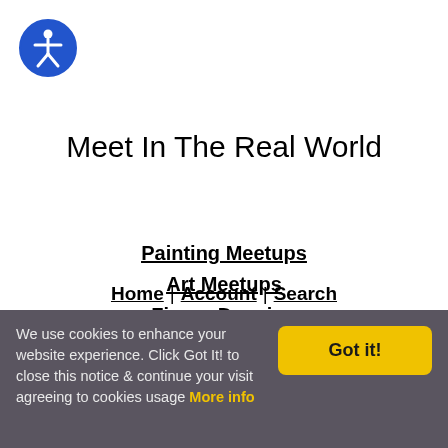[Figure (logo): Blue circle accessibility icon with a person figure in white]
Meet In The Real World
Painting Meetups
Art Meetups
Figure Drawing
Contemporary Art
Art Galleries
Home | Account | Search
We use cookies to enhance your website experience. Click Got It! to close this notice & continue your visit agreeing to cookies usage More info